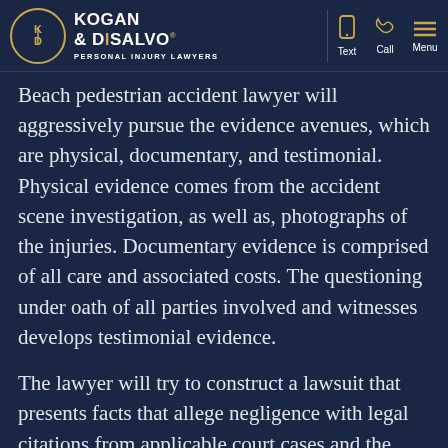Kogan & DiSalvo Personal Injury Lawyers | Text | Call | Menu
Beach pedestrian accident lawyer will aggressively pursue the evidence avenues, which are physical, documentary, and testimonial. Physical evidence comes from the accident scene investigation, as well as, photographs of the injuries. Documentary evidence is comprised of all care and associated costs. The questioning under oath of all parties involved and witnesses develops testimonial evidence.
The lawyer will try to construct a lawsuit that presents facts that allege negligence with legal citations from applicable court cases and the lawyer